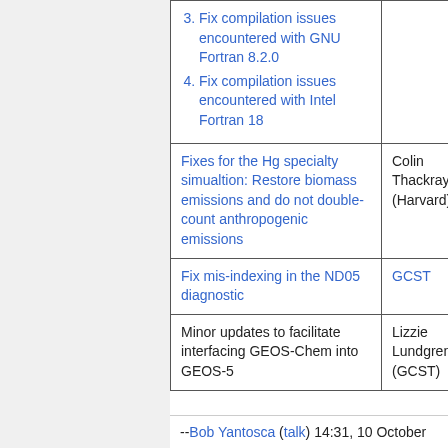| Description | Author |
| --- | --- |
| 3. Fix compilation issues encountered with GNU Fortran 8.2.0
4. Fix compilation issues encountered with Intel Fortran 18 |  |
| Fixes for the Hg specialty simualtion: Restore biomass emissions and do not double-count anthropogenic emissions | Colin Thackray (Harvard) |
| Fix mis-indexing in the ND05 diagnostic | GCST |
| Minor updates to facilitate interfacing GEOS-Chem into GEOS-5 | Lizzie Lundgren (GCST) |
--Bob Yantosca (talk) 14:31, 10 October